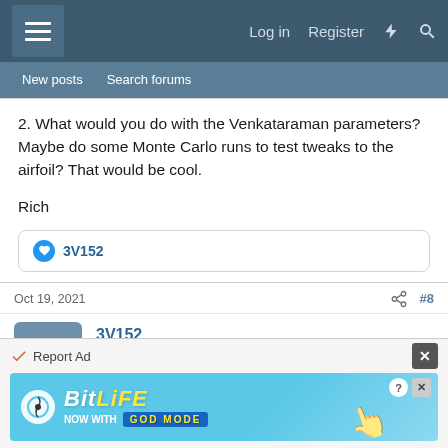Log in  Register
New posts  Search forums
2. What would you do with the Venkataraman parameters? Maybe do some Monte Carlo runs to test tweaks to the airfoil? That would be cool.

Rich
3V152
Oct 19, 2021  #8
3V152
Member  Supporting Member
[Figure (infographic): BitLife ad banner: NOW WITH GOD MODE]
Report Ad